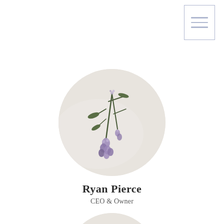[Figure (illustration): Small decorative stamp/postage box with three horizontal lines in the top-right corner]
[Figure (photo): Circular photo of lavender flowers (purple blooms with green stems) on a white/light fabric background — large circle, centered on page]
Ryan Pierce
CEO & Owner
[Figure (photo): Circular photo of lavender flowers (purple blooms with green stems) on a white/light fabric background — smaller circle, partially visible at bottom of page]